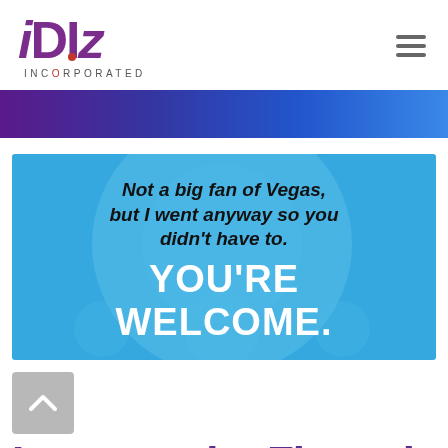[Figure (logo): iDiz Incorporated logo with purple stylized text and red dot on the capital I]
[Figure (infographic): Hamburger menu icon (three horizontal lines) in gray]
[Figure (infographic): Purple to blue gradient horizontal bar]
[Figure (infographic): Blue banner with overlapping circle shapes and text: 'Not a big fan of Vegas, but I went anyway so you didn't have to. YOU'RE WELCOME.']
[Figure (infographic): Gray scroll-to-top button with upward arrow]
I went to the Financial